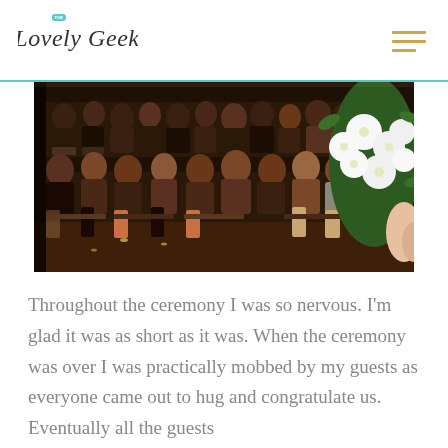The Lovely Geek [logo]
[Figure (photo): Wedding ceremony photo showing rows of seated guests watching the ceremony. A white floral bouquet is visible in the foreground right side. The image has warm, dim indoor lighting.]
Throughout the ceremony I was so nervous. I'm glad it was as short as it was. When the ceremony was over I was practically mobbed by my guests as everyone came out to hug and congratulate us. Eventually all the guests